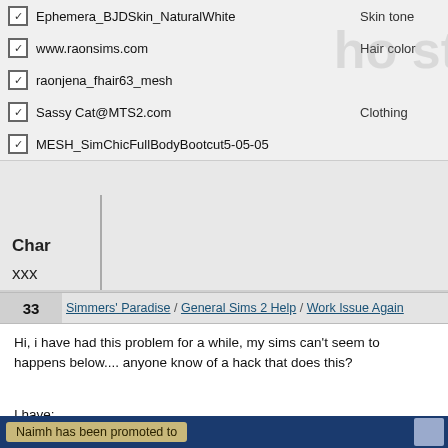[Figure (screenshot): A software UI panel showing a list of mod/resource files with checkboxes, each row showing a filename and a category label (Skin tone, Hair color, Clothing). Includes watermark text partially visible on the right.]
Char
xxx
33  Simmers' Paradise / General Sims 2 Help / Work Issue Again
Hi, i have had this problem for a while, my sims can't seem to happens below.... anyone know of a hack that does this?
I have:
Triplets & Quads
Pregnancy Wear Any Outfit EP7
Inteen
ACR
Feed Baby (Squinge)
Freetime Critical Fix
PermaFridgeSeasons
[Figure (screenshot): Bottom banner with dark blue background showing a notification 'Naimh has been promoted to' in a tan/gold box, with a character avatar on the right.]